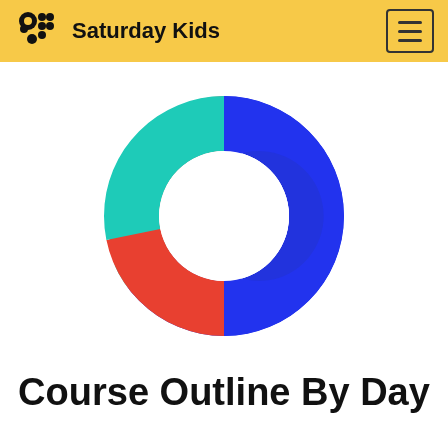Saturday Kids
[Figure (donut-chart): Course Outline By Day]
Course Outline By Day